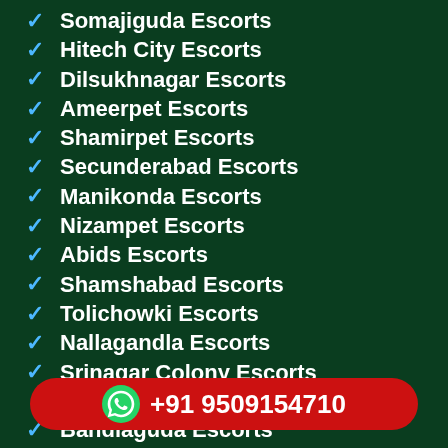Somajiguda Escorts
Hitech City Escorts
Dilsukhnagar Escorts
Ameerpet Escorts
Shamirpet Escorts
Secunderabad Escorts
Manikonda Escorts
Nizampet Escorts
Abids Escorts
Shamshabad Escorts
Tolichowki Escorts
Nallagandla Escorts
Srinagar Colony Escorts
Bandlaguda Escorts
Bhagyanagar Escorts
Bagh Lingampally Escorts
Chaitanyapuri Escorts
Doodh Bowli Escorts
+91 9509154710